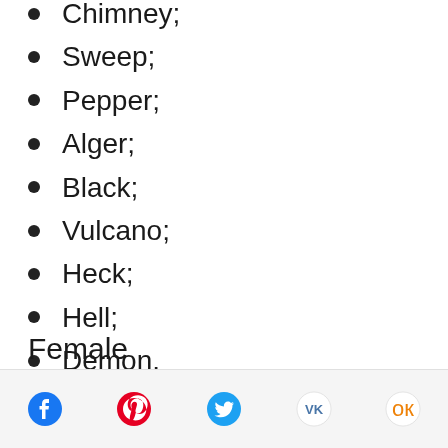Chimney;
Sweep;
Pepper;
Alger;
Black;
Vulcano;
Heck;
Hell;
Demon.
Female
Social share icons: Facebook, Pinterest, Twitter, VK, Odnoklassniki